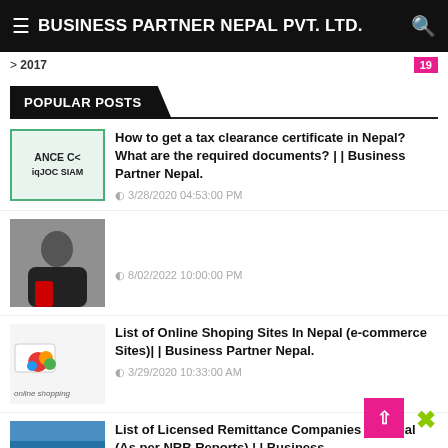≡ BUSINESS PARTNER NEPAL PVT. LTD. 🔍
> 2017   19
POPULAR POSTS
How to get a tax clearance certificate in Nepal? What are the required documents? | | Business Partner Nepal.
3/28/2020 04:53:00 PM
8/02/2022 10:00:00 PM
List of Online Shoping Sites In Nepal (e-commerce Sites)| | Business Partner Nepal.
3/29/2020 10:33:00 AM
List of Licensed Remittance Companies In Nepal (As per NRB Reports) | | Business